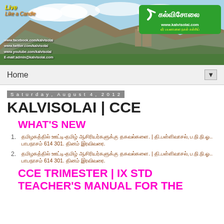[Figure (photo): Kalvisolai website banner with rocky fort landscape, social media links, and green Kalvisolai logo with Tamil text]
Home ▼
Saturday, August 4, 2012
KALVISOLAI | CCE
WHAT'S NEW
Tamil text list item 1 | தி.பள்ளிவாசல், ப.நி.நி.ஓ.. பாபநாசம் 614 301. தினம் இரவிவரை.
Tamil text list item 2 | தி.பள்ளிவாசல், ப.நி.நி.ஓ.. பாபநாசம் 614 301. தினம் இரவிவரை.
CCE TRIMESTER | IX STD TEACHER'S MANUAL FOR THE